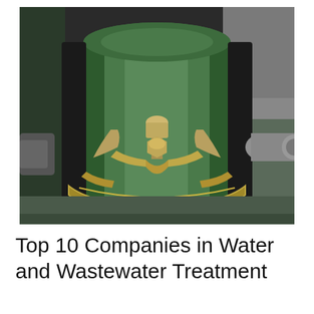[Figure (photo): Close-up photograph of industrial water treatment equipment — a green cylindrical vessel with brass/gold-colored fittings, bolts, and a decorative bracket/clamp assembly at the bottom. The equipment appears to be a water filter or valve component with metallic hardware.]
Top 10 Companies in Water and Wastewater Treatment